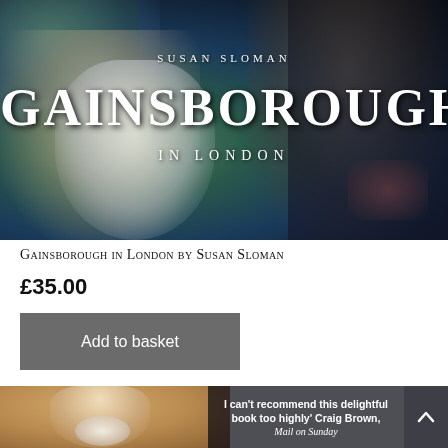[Figure (illustration): Book cover of 'Gainsborough in London' by Susan Sloman. Dark, richly painted background featuring two figures from a classic portrait painting — a woman in a white/grey dress on the left, another figure on the right in darker tones. Lush foliage and a faint sky visible top-left. The author name 'SUSAN SLOMAN' appears in small spaced serif capitals near the top, 'GAINSBOROUGH' in large bold serif letters in the centre, and 'IN LONDON' in smaller spaced serif letters below.]
Gainsborough in London by Susan Sloman
£35.00
Add to basket
[Figure (illustration): Partial view of a second painting — a portrait of a gentleman, showing neck and lower face, wearing a white cravat, on a warm golden-brown background. Overlaid on the right side is a dark translucent quote box reading: 'I can't recommend this delightful book too highly' Craig Brown, Mail on Sunday. A dark scroll-to-top button with an up-arrow chevron appears at the bottom right.]